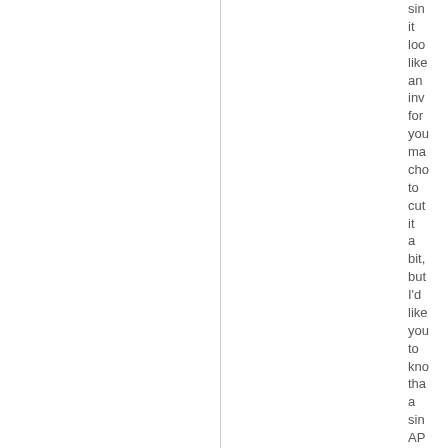sin it loo like an inv for you ma cho to cut it a bit, but I'd like you to kno tha a sin AP